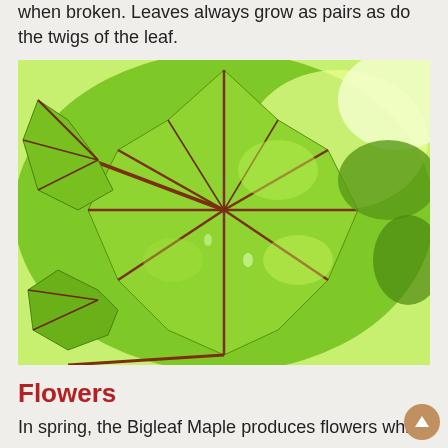when broken. Leaves always grow as pairs as do the twigs of the leaf.
[Figure (photo): Close-up upward-looking photo of large green maple leaves (Bigleaf Maple) with prominent veins and reddish stems, with bright green foliage and sky visible in background]
Flowers
In spring, the Bigleaf Maple produces flowers whic